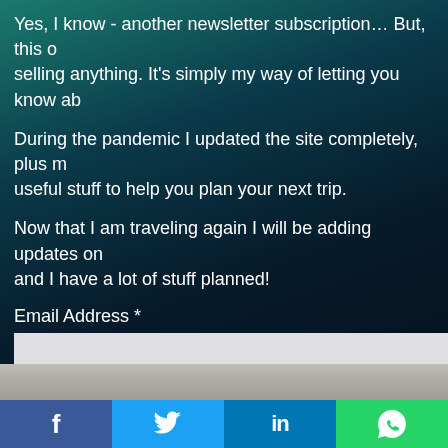Yes, I know - another newsletter subscription… But, this one is not selling anything. It's simply my way of letting you know ab...
During the pandemic I updated the site completely, plus many useful stuff to help you plan your next trip.
Now that I am traveling again I will be adding updates on... and I have a lot of stuff planned!
Email Address *
[Figure (screenshot): Email address input field (white/light gray rectangle)]
[Figure (screenshot): Subscribe button, dark gray background]
Nothing commercial, just good information - that's a...
and... you can unsubscribe at any time
[Figure (photo): Partial photo strip visible at bottom of page]
[Figure (screenshot): Social media share bar with Facebook, Twitter, LinkedIn, WhatsApp buttons]